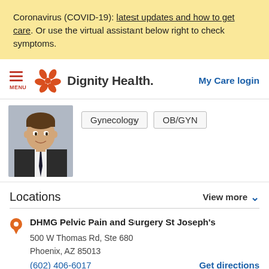Coronavirus (COVID-19): latest updates and how to get care. Or use the virtual assistant below right to check symptoms.
[Figure (logo): Dignity Health logo with orange flower icon and 'Dignity Health.' wordmark]
My Care login
[Figure (photo): Doctor headshot - young man in dark suit and tie]
Gynecology   OB/GYN
Locations
View more
DHMG Pelvic Pain and Surgery St Joseph's
500 W Thomas Rd, Ste 680
Phoenix, AZ 85013
(602) 406-6017
Get directions